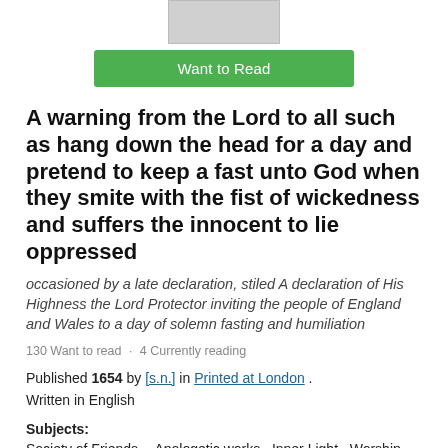[Figure (screenshot): Book cover placeholder (grey rectangle) and a green 'Want to Read' button]
A warning from the Lord to all such as hang down the head for a day and pretend to keep a fast unto God when they smite with the fist of wickedness and suffers the innocent to lie oppressed
occasioned by a late declaration, stiled A declaration of His Highness the Lord Protector inviting the people of England and Wales to a day of solemn fasting and humiliation
130 Want to read · 4 Currently reading
Published 1654 by [s.n.] in Printed at London . Written in English
Subjects:
Society of Friends -- Apologetic works., Inner Light., Worship.